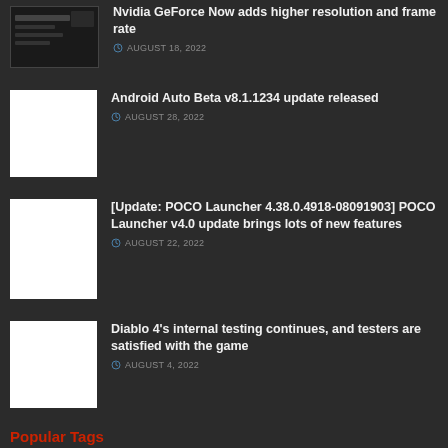Nvidia GeForce Now adds higher resolution and frame rate — AUGUST 18, 2022
Android Auto Beta v8.1.1234 update released — AUGUST 28, 2022
[Update: POCO Launcher 4.38.0.4918-08091903] POCO Launcher v4.0 update brings lots of new features — AUGUST 22, 2022
Diablo 4's internal testing continues, and testers are satisfied with the game — AUGUST 4, 2022
Popular Tags
Android
Android 11
Android 12
Android 13
Apple
Battlefield 2042
Blizzard
CDPR
Chrome